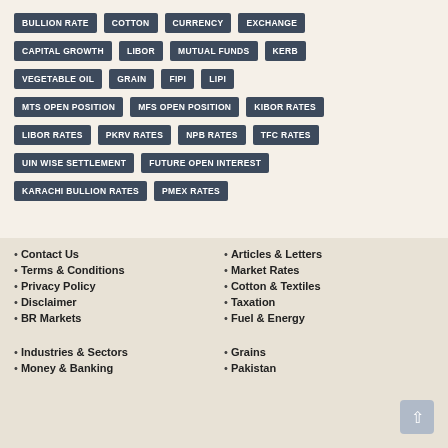BULLION RATE
COTTON
CURRENCY
EXCHANGE
CAPITAL GROWTH
LIBOR
MUTUAL FUNDS
KERB
VEGETABLE OIL
GRAIN
FIPI
LIPI
MTS OPEN POSITION
MFS OPEN POSITION
KIBOR RATES
LIBOR RATES
PKRV RATES
NPB RATES
TFC RATES
UIN WISE SETTLEMENT
FUTURE OPEN INTEREST
KARACHI BULLION RATES
PMEX RATES
Contact Us • Terms & Conditions • Privacy Policy • Disclaimer • BR Markets • Industries & Sectors • Money & Banking • Articles & Letters • Market Rates • Cotton & Textiles • Taxation • Fuel & Energy • Grains • Pakistan